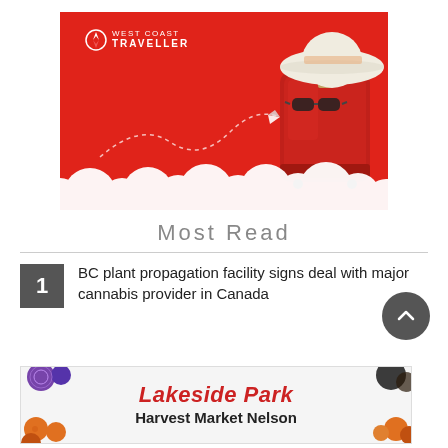[Figure (illustration): West Coast Traveller promotional image: red background with a red suitcase, white sunhat with sunglasses on top, paper airplane with dotted trail, fluffy white clouds at bottom. White logo text 'WEST COAST TRAVELLER' in top-left corner.]
Most Read
1. BC plant propagation facility signs deal with major cannabis provider in Canada
[Figure (infographic): Advertisement banner for Lakeside Park Harvest Market Nelson. Shows 'Lakeside Park' in red italic bold text and 'Harvest Market Nelson' in black bold text. Left and right sides have food/produce imagery.]